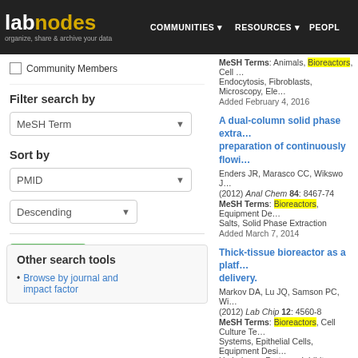labnodes — organize, share & archive your data | COMMUNITIES | RESOURCES | PEOPLE
☐ Community Members
Filter search by
MeSH Term [dropdown]
Sort by
PMID [dropdown]
Descending [dropdown]
Update [button]
Other search tools
Browse by journal and impact factor
MeSH Terms: Animals, Bioreactors, Cell ... Endocytosis, Fibroblasts, Microscopy, Ele... Added February 4, 2016
A dual-column solid phase extra... preparation of continuously flowi...
Enders JR, Marasco CC, Wikswo J... (2012) Anal Chem 84: 8467-74
MeSH Terms: Bioreactors, Equipment De... Salts, Solid Phase Extraction
Added March 7, 2014
Thick-tissue bioreactor as a platf... delivery.
Markov DA, Lu JQ, Samson PC, Wi... (2012) Lab Chip 12: 4560-8
MeSH Terms: Bioreactors, Cell Culture Te... Systems, Epithelial Cells, Equipment Desi... Hydrolases, Protease Inhibitors, Structure...
Added March 7, 2014
Albumin handling by renal tubula...
Ferrell N, Ricci KB, Groszek J, Mar...